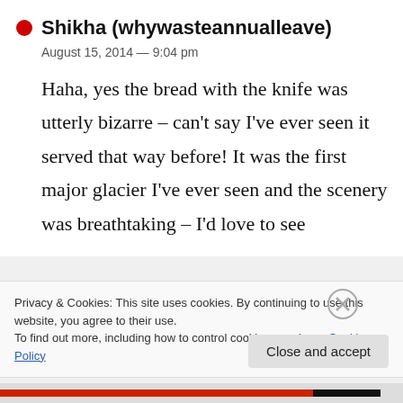Shikha (whywasteannualleave)
August 15, 2014 — 9:04 pm
Haha, yes the bread with the knife was utterly bizarre – can't say I've ever seen it served that way before! It was the first major glacier I've ever seen and the scenery was breathtaking – I'd love to see
Privacy & Cookies: This site uses cookies. By continuing to use this website, you agree to their use.
To find out more, including how to control cookies, see here: Cookie Policy
Close and accept